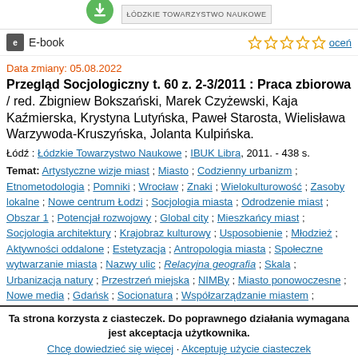[Figure (logo): Green download icon circle and institution banner at top]
E-book
★★★★★ oceń
Data zmiany: 05.08.2022
Przegląd Socjologiczny t. 60 z. 2-3/2011 : Praca zbiorowa / red. Zbigniew Bokszański, Marek Czyżewski, Kaja Kaźmierska, Krystyna Lutyńska, Paweł Starosta, Wielisława Warzywoda-Kruszyńska, Jolanta Kulpińska.
Łódź : Łódzkie Towarzystwo Naukowe ; IBUK Libra, 2011. - 438 s.
Temat: Artystyczne wizje miast ; Miasto ; Codzienny urbanizm ; Etnometodologia ; Pomniki ; Wrocław ; Znaki ; Wielokulturowość ; Zasoby lokalne ; Nowe centrum Łodzi ; Socjologia miasta ; Odrodzenie miast ; Obszar 1 ; Potencjał rozwojowy ; Global city ; Mieszkańcy miast ; Socjologia architektury ; Krajobraz kulturowy ; Usposobienie ; Młodzież ; Aktywności oddalone ; Estetyzacja ; Antropologia miasta ; Społeczne wytwarzanie miasta ; Nazwy ulic ; Relacyjna geografia ; Skala ; Urbanizacja natury ; Przestrzeń miejska ; NIMBy ; Miasto ponowoczesne ; Nowe media ; Gdańsk ; Socionatura ; Współzarządzanie miastem ; Demokracja
Ta strona korzysta z ciasteczek. Do poprawnego działania wymagana jest akceptacja użytkownika.
Chcę dowiedzieć się więcej · Akceptuję użycie ciasteczek